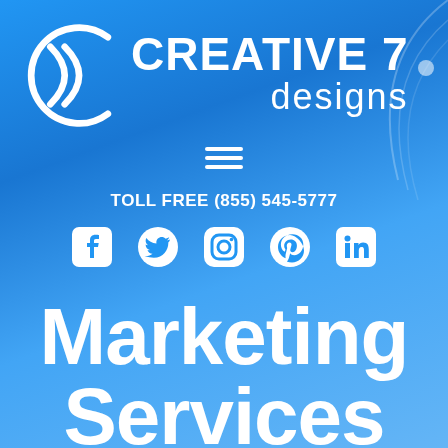[Figure (logo): Creative 7 Designs logo with circular C7 icon and text CREATIVE 7 designs in white on blue gradient background]
TOLL FREE (855) 545-5777
[Figure (infographic): Social media icons: Facebook, Twitter, Instagram, Pinterest, LinkedIn in white]
Marketing Services